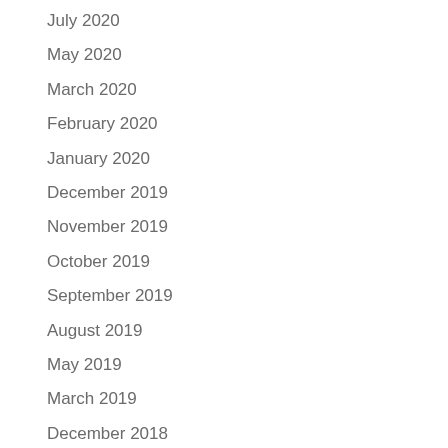July 2020
May 2020
March 2020
February 2020
January 2020
December 2019
November 2019
October 2019
September 2019
August 2019
May 2019
March 2019
December 2018